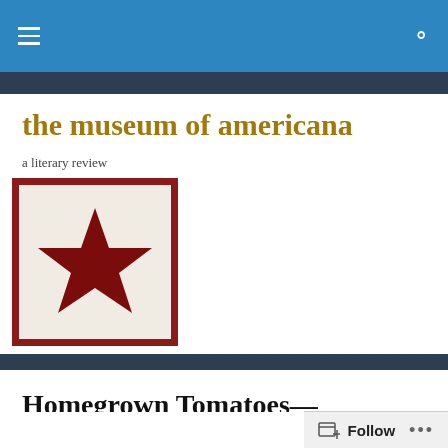the museum of americana
a literary review
[Figure (illustration): A square image with a dark red/maroon border showing a cream/linen-textured background with a large dark red five-pointed star in the center. This appears to be the logo of 'the museum of americana'.]
Homegrown Tomatoes—Nonfiction by Michael P...